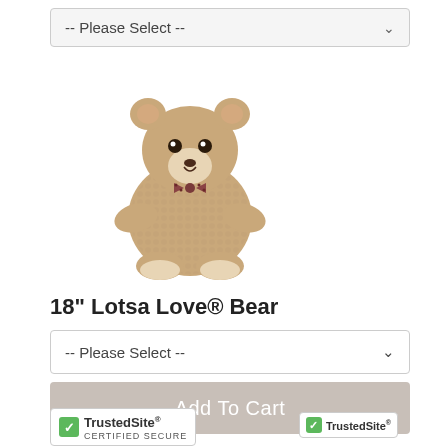[Figure (other): Dropdown selector showing -- Please Select -- at top of page]
[Figure (photo): 18 inch Lotsa Love Bear stuffed animal - tan/beige teddy bear with checkered bow tie, sitting position on white background]
18" Lotsa Love® Bear
[Figure (other): Dropdown selector showing -- Please Select --]
[Figure (other): Add To Cart button (grayed out)]
[Figure (logo): TrustedSite CERTIFIED SECURE badge - left side]
[Figure (logo): TrustedSite badge - right side]